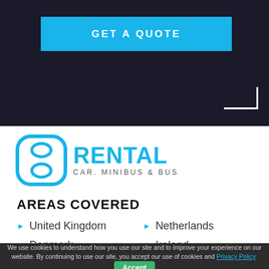[Figure (other): Dark hero banner with a blue 'GET A QUOTE' button and a white L-shaped bracket in the corner]
[Figure (logo): 8Rental logo - blue stylized figure-8 icon with RENTAL text and CAR. MINIBUS & BUS subtitle]
AREAS COVERED
United Kingdom
Netherlands
Denmark
Ireland
We use cookies to understand how you use our site and to improve your experience on our website. By continuing to use our site, you accept our use of cookies and Privacy Policy  Accept